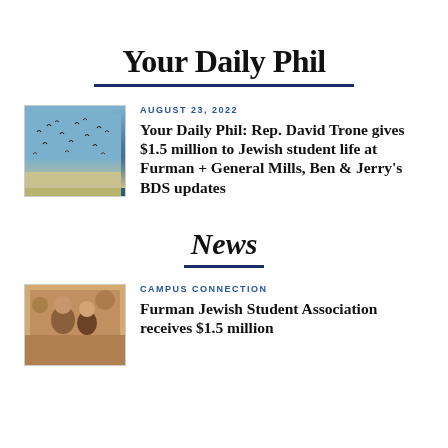Your Daily Phil
[Figure (photo): Thumbnail image showing birds flying over a field or landscape]
AUGUST 23, 2022
Your Daily Phil: Rep. David Trone gives $1.5 million to Jewish student life at Furman + General Mills, Ben & Jerry's BDS updates
News
[Figure (photo): Thumbnail image showing people, appears to be a campus or community scene]
CAMPUS CONNECTION
Furman Jewish Student Association receives $1.5 million